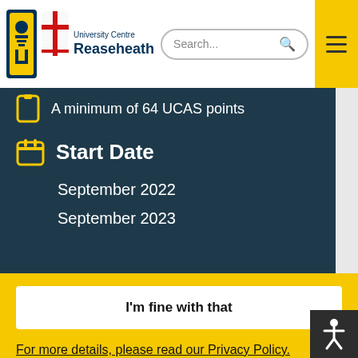[Figure (logo): University Centre Reaseheath logo with crest and shield]
Search...
A minimum of 64 UCAS points
Start Date
September 2022
September 2023
Our website uses cookies to ensure you get the best experience when using the site.
For more details, please read our Privacy Policy.
I'm fine with that